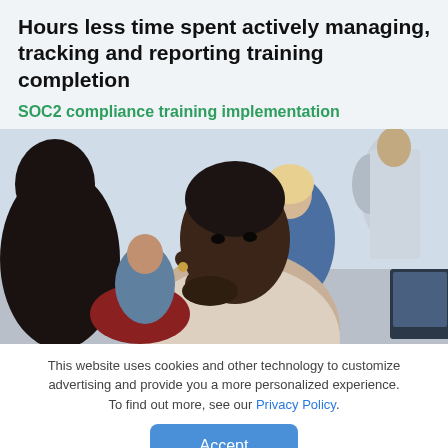Hours less time spent actively managing, tracking and reporting training completion
SOC2 compliance training implementation
[Figure (photo): A group of people in a training or workplace setting. In the foreground, a young Black woman with short hair rests her chin on her hand and looks attentively forward. Behind her, other participants are visible, including a woman with blonde hair and a man in a white shirt standing in the background.]
This website uses cookies and other technology to customize advertising and provide you a more personalized experience. To find out more, see our Privacy Policy.
Accept